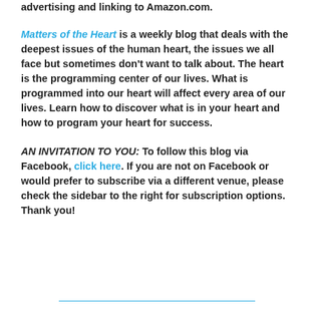advertising and linking to Amazon.com.
Matters of the Heart is a weekly blog that deals with the deepest issues of the human heart, the issues we all face but sometimes don't want to talk about. The heart is the programming center of our lives. What is programmed into our heart will affect every area of our lives. Learn how to discover what is in your heart and how to program your heart for success.
AN INVITATION TO YOU: To follow this blog via Facebook, click here. If you are not on Facebook or would prefer to subscribe via a different venue, please check the sidebar to the right for subscription options. Thank you!
———————————————————